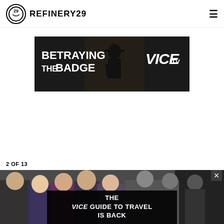[Figure (logo): Refinery29 logo with circle icon and text]
[Figure (screenshot): Advertisement banner for 'Betraying the Badge' on VICE TV — dark background with bold white text and silhouette of a police officer]
2 OF 13
[Figure (photo): Photo strip showing a crowd of people]
[Figure (screenshot): Overlay ad: 'THE VICE GUIDE TO TRAVEL IS BACK' with VICE logo in dark overlay]